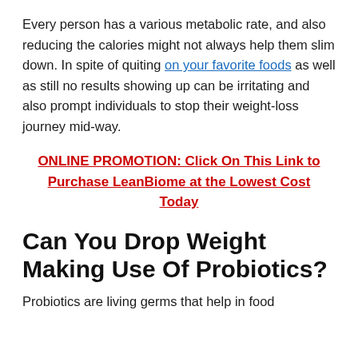Every person has a various metabolic rate, and also reducing the calories might not always help them slim down. In spite of quiting on your favorite foods as well as still no results showing up can be irritating and also prompt individuals to stop their weight-loss journey mid-way.
ONLINE PROMOTION: Click On This Link to Purchase LeanBiome at the Lowest Cost Today
Can You Drop Weight Making Use Of Probiotics?
Probiotics are living germs that help in food